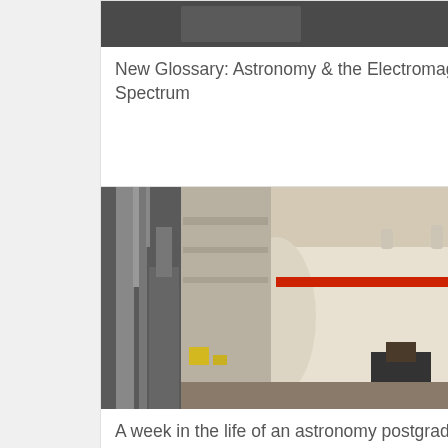[Figure (photo): Partial image at top of first card, appears to be a dark/shadowed astronomy-related photo]
New Glossary: Astronomy & the Electromagnetic Spectrum
[Figure (photo): Photo of a large cream/white cylindrical astronomical instrument or telescope dome component with a red stripe, mounted in a laboratory or workshop setting with metal framework visible]
A week in the life of an astronomy postgrad researcher – more average than you might think?